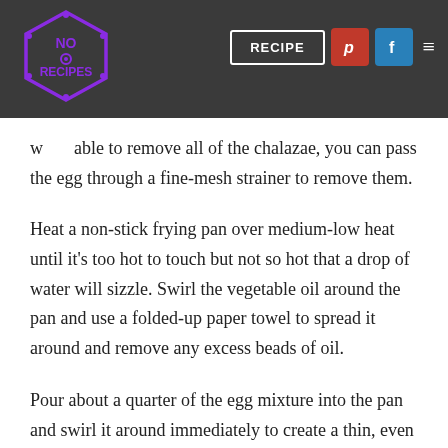No Recipes | RECIPE
w...able to remove all of the chalazae, you can pass the egg through a fine-mesh strainer to remove them.
Heat a non-stick frying pan over medium-low heat until it’s too hot to touch but not so hot that a drop of water will sizzle. Swirl the vegetable oil around the pan and use a folded-up paper towel to spread it around and remove any excess beads of oil.
Pour about a quarter of the egg mixture into the pan and swirl it around immediately to create a thin, even layer of egg. Let this cook undisturbed until the edges…